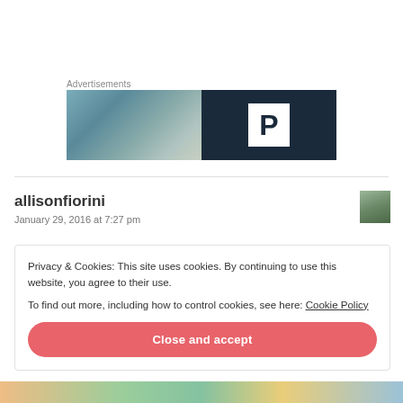Advertisements
[Figure (photo): Advertisement banner with blurry photo on the left and dark blue background with white 'P' box on the right]
allisonfiorini
January 29, 2016 at 7:27 pm
[Figure (photo): Small avatar photo thumbnail of person outdoors]
Privacy & Cookies: This site uses cookies. By continuing to use this website, you agree to their use.
To find out more, including how to control cookies, see here: Cookie Policy
Close and accept